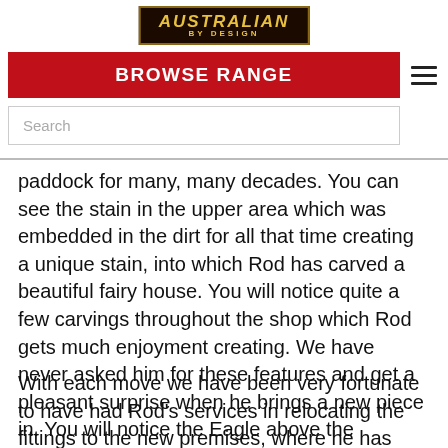[Figure (logo): Australian By Design logo — gold text on dark banner with gold border]
BROWSE RANGE
paddock for many, many decades. You can see the stain in the upper area which was embedded in the dirt for all that time creating a unique stain, into which Rod has carved a beautiful fairy house. You will notice quite a few carvings throughout the shop which Rod gets much enjoyment creating. We have never asked him for these features and get a pleasant surprise when he brings a new piece in. You will notice the Eagle above the storeroom door, this came from Shop 20.
With each move we have been very fortunate to have had Rod's services in relocating the fittings to the new premises, where he has installed them as if they were